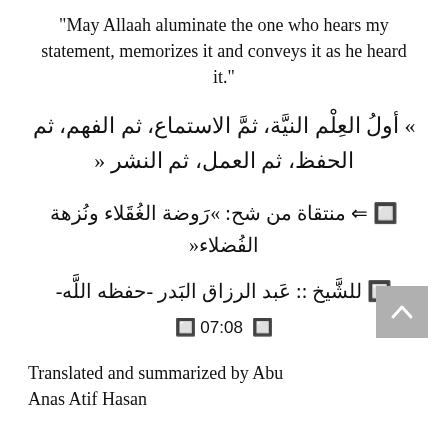"May Allaah aluminate the one who hears my statement, memorizes it and conveys it as he heard it."
» أولُ العِلْم النيَّة، ثمَّ الاستماع، ثم الفهم، ثم الحفظ، ثم العمل، ثم النشر «
🔲 ⇐ منتقاة من شح: »رَوضة الغُقَلاء ونُزهة الفُضلاء«
🔲 للشَّيخ :: عَبد الرزاق البَدر -حفظه اللَّه-
🔲 07:08 🔲
Translated and summarized by Abu Anas Atif Hasan